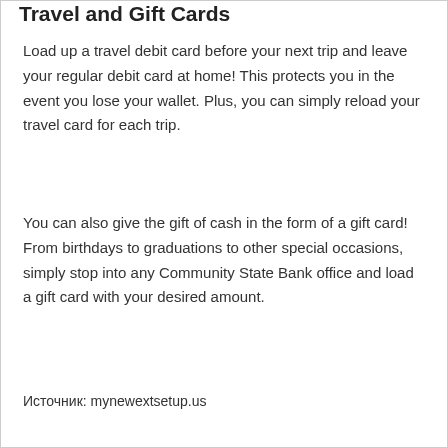Travel and Gift Cards
Load up a travel debit card before your next trip and leave your regular debit card at home! This protects you in the event you lose your wallet. Plus, you can simply reload your travel card for each trip.
You can also give the gift of cash in the form of a gift card! From birthdays to graduations to other special occasions, simply stop into any Community State Bank office and load a gift card with your desired amount.
Источник: mynewextsetup.us